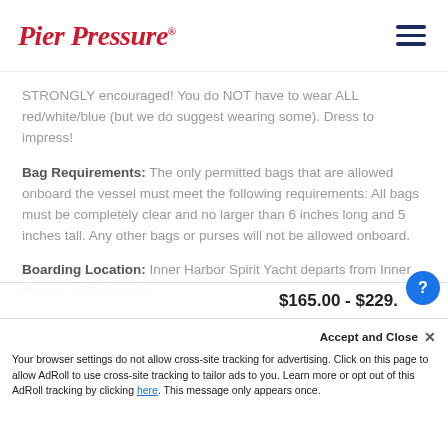Pier Pressure®
STRONGLY encouraged! You do NOT have to wear ALL red/white/blue (but we do suggest wearing some). Dress to impress!
Bag Requirements: The only permitted bags that are allowed onboard the vessel must meet the following requirements: All bags must be completely clear and no larger than 6 inches long and 5 inches tall. Any other bags or purses will not be allowed onboard.
Boarding Location: Inner Harbor Spirit Yacht departs from Inner Harbor - 561 Light St...
$165.00 - $229.
Your browser settings do not allow cross-site tracking for advertising. Click on this page to allow AdRoll to use cross-site tracking to tailor ads to you. Learn more or opt out of this AdRoll tracking by clicking here. This message only appears once.